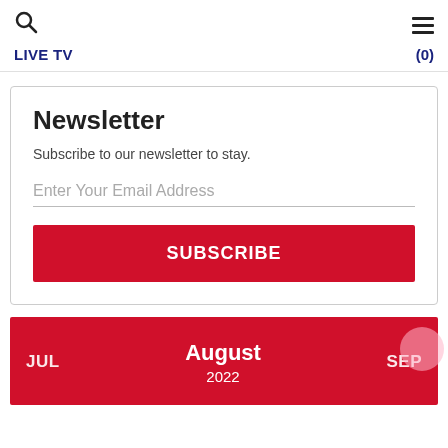LIVE TV (0)
Newsletter
Subscribe to our newsletter to stay.
Enter Your Email Address
SUBSCRIBE
JUL  August 2022  SEP